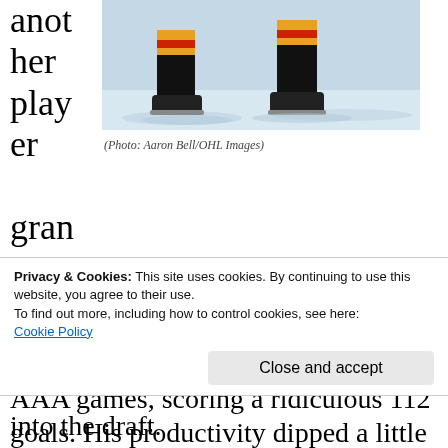another player gran
[Figure (photo): Ice hockey player's legs and skates on ice, wearing black pants with red, yellow, and orange striped socks]
(Photo: Aaron Bell/OHL Images)
ted exceptional status at the start of last season so he could be drafted into the OHL a year early. Before all this, McDavid put up 281 points in 121 AAA games, scoring a ridiculous 112 goals. His productivity dipped a little bit at the OHL level, but still...
Privacy & Cookies: This site uses cookies. By continuing to use this website, you agree to their use.
To find out more, including how to control cookies, see here:
Cookie Policy
Close and accept
into the draft.